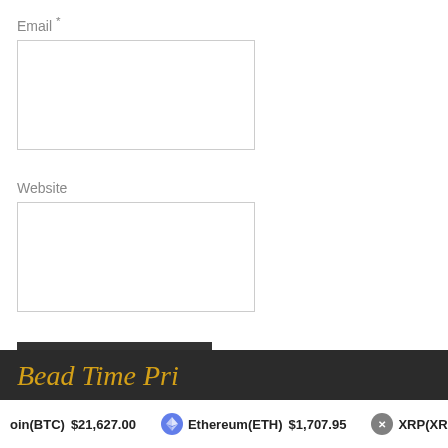Email *
[Figure (other): Empty email input text box]
Website
[Figure (other): Empty website input text box]
Post Comment
[Figure (other): Dark banner partially visible at bottom with golden italic text]
coin(BTC) $21,627.00  Ethereum(ETH) $1,707.95  XRP(XRP)